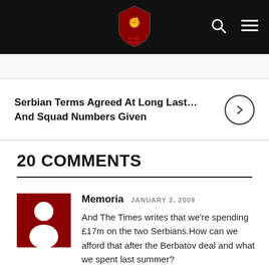BUSBY BABE (logo/navbar)
Serbian Terms Agreed At Long Last… And Squad Numbers Given
20 COMMENTS
Memoria  JANUARY 2, 2009
And The Times writes that we're spending £17m on the two Serbians.How can we afford that after the Berbatov deal and what we spent last summer?